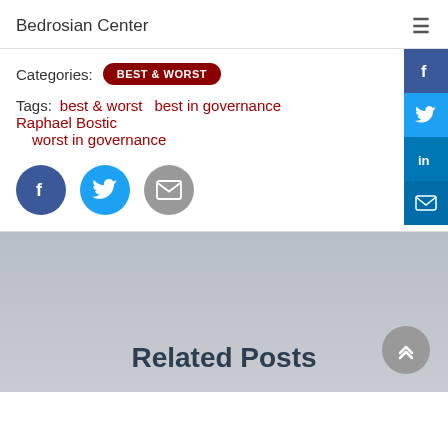Bedrosian Center
Categories: BEST & WORST
Tags: best & worst   best in governance   Raphael Bostic   worst in governance
[Figure (infographic): Social share icons: Facebook (dark blue circle), Twitter (light blue circle), Email (gray circle). Sidebar social icons on right edge: Facebook, Twitter, LinkedIn, Email.]
Related Posts